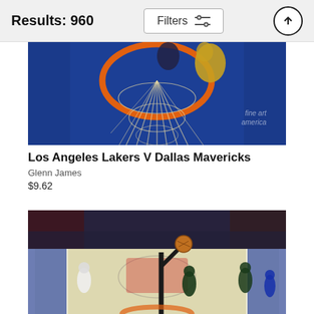Results: 960
[Figure (photo): Overhead view of a basketball going through the hoop net during an NBA game, Los Angeles Lakers vs Dallas Mavericks, with blue court visible below. Fine Art America watermark visible.]
Los Angeles Lakers V Dallas Mavericks
Glenn James
$9.62
[Figure (photo): Wide-angle view of an NBA basketball game showing a player dunking the ball, with a packed crowd in the background and blue court markings visible. Multiple players on court.]